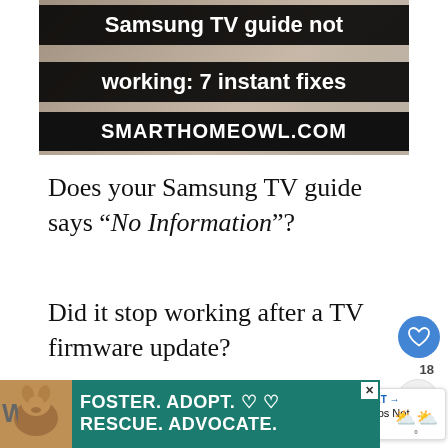[Figure (screenshot): Advertisement banner for smarthomeowl.com showing 'Samsung TV guide not working: 7 instant fixes' text on dark background with room background image]
Does your Samsung TV guide says “No Information”?
Did it stop working after a TV firmware update?
Or perhaps after a power outrage?
[Figure (infographic): What's Next widget showing thumbnail and text '(7 Fixes) Apps Not Working...']
[Figure (screenshot): Bottom advertisement banner: FOSTER. ADOPT. RESCUE. ADVOCATE. with dog image on teal background]